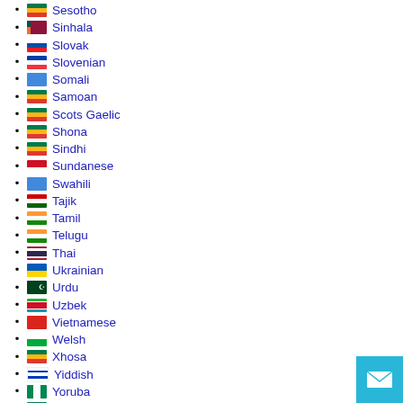Sesotho
Sinhala
Slovak
Slovenian
Somali
Samoan
Scots Gaelic
Shona
Sindhi
Sundanese
Swahili
Tajik
Tamil
Telugu
Thai
Ukrainian
Urdu
Uzbek
Vietnamese
Welsh
Xhosa
Yiddish
Yoruba
Zulu